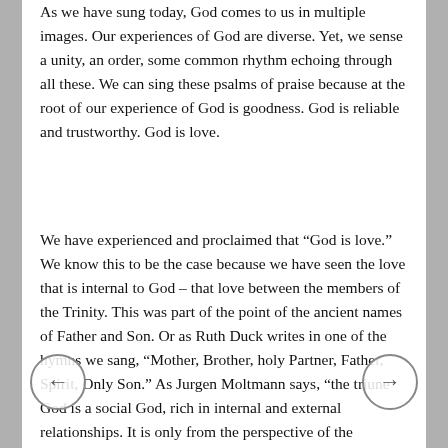As we have sung today, God comes to us in multiple images. Our experiences of God are diverse. Yet, we sense a unity, an order, some common rhythm echoing through all these. We can sing these psalms of praise because at the root of our experience of God is goodness. God is reliable and trustworthy. God is love.
We have experienced and proclaimed that “God is love.” We know this to be the case because we have seen the love that is internal to God – that love between the members of the Trinity. This was part of the point of the ancient names of Father and Son. Or as Ruth Duck writes in one of the hymns we sang, “Mother, Brother, holy Partner, Father, Spirit, Only Son.” As Jurgen Moltmann says, “the triune God is a social God, rich in internal and external relationships. It is only from the perspective of the trinitarian God that we can claim that “God is Love.”